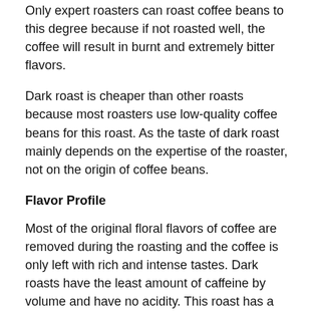Only expert roasters can roast coffee beans to this degree because if not roasted well, the coffee will result in burnt and extremely bitter flavors.
Dark roast is cheaper than other roasts because most roasters use low-quality coffee beans for this roast. As the taste of dark roast mainly depends on the expertise of the roaster, not on the origin of coffee beans.
Flavor Profile
Most of the original floral flavors of coffee are removed during the roasting and the coffee is only left with rich and intense tastes. Dark roasts have the least amount of caffeine by volume and have no acidity. This roast has a bold and flavorful aroma that can bring joy to any coffee lover.
If you are strictly against the acidic flavors of coffee and a fan of a bittersweet aftertaste then this roast is for you.